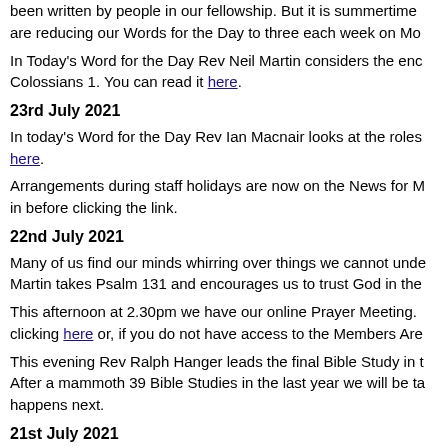been written by people in our fellowship. But it is summertime are reducing our Words for the Day to three each week on Mo
In Today's Word for the Day Rev Neil Martin considers the enc Colossians 1. You can read it here.
23rd July 2021
In today's Word for the Day Rev Ian Macnair looks at the roles here.
Arrangements during staff holidays are now on the News for M in before clicking the link.
22nd July 2021
Many of us find our minds whirring over things we cannot unde Martin takes Psalm 131 and encourages us to trust God in the
This afternoon at 2.30pm we have our online Prayer Meeting. clicking here or, if you do not have access to the Members Are
This evening Rev Ralph Hanger leads the final Bible Study in t After a mammoth 39 Bible Studies in the last year we will be ta happens next.
21st July 2021